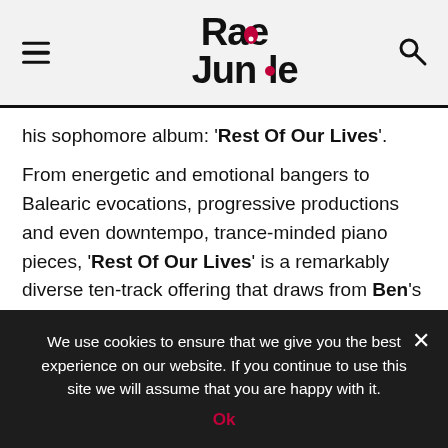Rave Jungle
his sophomore album: 'Rest Of Our Lives'.
From energetic and emotional bangers to Balearic evocations, progressive productions and even downtempo, trance-minded piano pieces, 'Rest Of Our Lives' is a remarkably diverse ten-track offering that draws from Ben's personal experiences and the memories he made on the island of Ibiza, all through broad-appeal tracks such as 'Xtravaganza', 'Nostalgia', 'Same Sky Same Stars' (with Plumb) and its official title track.
We use cookies to ensure that we give you the best experience on our website. If you continue to use this site we will assume that you are happy with it.